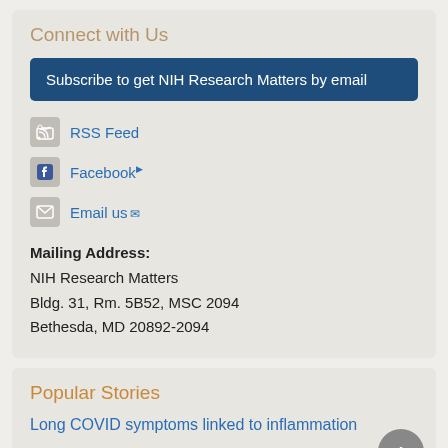Connect with Us
Subscribe to get NIH Research Matters by email
RSS Feed
Facebook
Email us
Mailing Address:
NIH Research Matters
Bldg. 31, Rm. 5B52, MSC 2094
Bethesda, MD 20892-2094
Popular Stories
Long COVID symptoms linked to inflammation
Study suggests Epstein-Barr virus may cause multiple